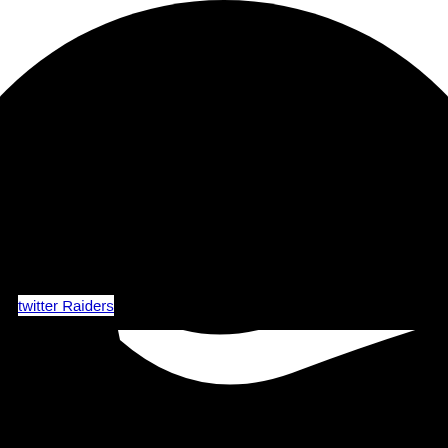[Figure (illustration): Large black filled circle, mostly visible in the upper portion of the page, cropped at top and sides]
twitter Raiders
[Figure (illustration): Second large black filled circle partially visible at the bottom of the page, with a white curved arc/stripe visible inside it]